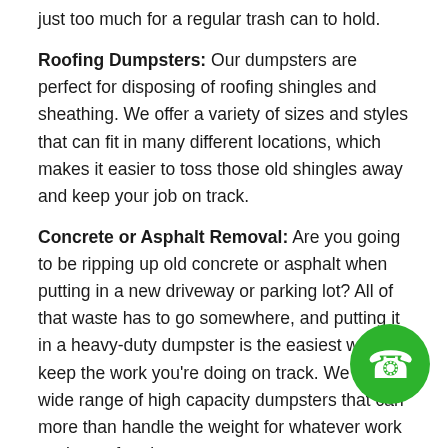just too much for a regular trash can to hold.
Roofing Dumpsters: Our dumpsters are perfect for disposing of roofing shingles and sheathing. We offer a variety of sizes and styles that can fit in many different locations, which makes it easier to toss those old shingles away and keep your job on track.
Concrete or Asphalt Removal: Are you going to be ripping up old concrete or asphalt when putting in a new driveway or parking lot? All of that waste has to go somewhere, and putting it in a heavy-duty dumpster is the easiest way to keep the work you're doing on track. We carry a wide range of high capacity dumpsters that can more than handle the weight for whatever work you're performing.
[Figure (illustration): Green circle phone badge icon in bottom-right corner]
Save Time and Money With Our Quality